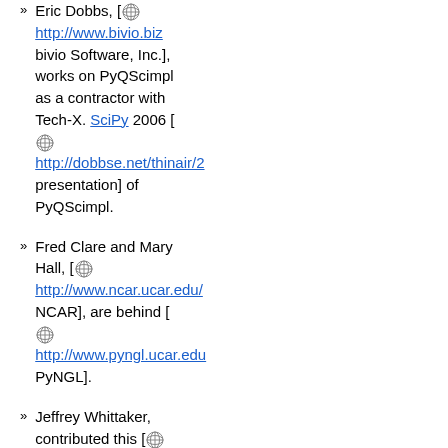Eric Dobbs, [http://www.bivio.biz bivio Software, Inc.], works on PyQScimpl as a contractor with Tech-X. SciPy 2006 [http://dobbse.net/thinair/2 presentation] of PyQScimpl.
Fred Clare and Mary Hall, [http://www.ncar.ucar.edu/ NCAR], are behind [http://www.pyngl.ucar.edu PyNGL].
Jeffrey Whittaker, contributed this [http://www.scipy.org/Wiki/ plot] to matplotlib for